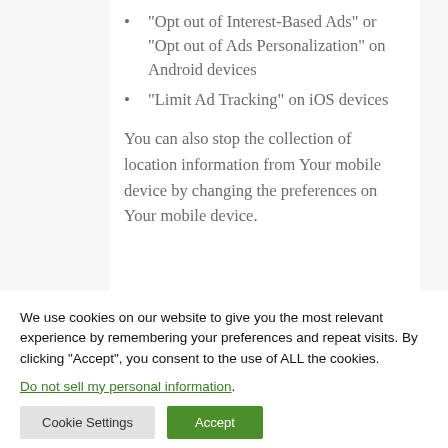“Opt out of Interest-Based Ads” or “Opt out of Ads Personalization” on Android devices
“Limit Ad Tracking” on iOS devices
You can also stop the collection of location information from Your mobile device by changing the preferences on Your mobile device.
We use cookies on our website to give you the most relevant experience by remembering your preferences and repeat visits. By clicking “Accept”, you consent to the use of ALL the cookies.
Do not sell my personal information.